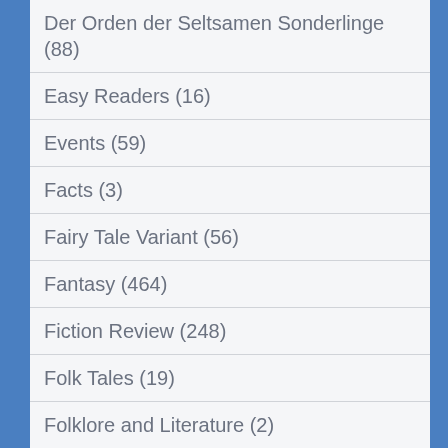Der Orden der Seltsamen Sonderlinge (88)
Easy Readers (16)
Events (59)
Facts (3)
Fairy Tale Variant (56)
Fantasy (464)
Fiction Review (248)
Folk Tales (19)
Folklore and Literature (2)
Forgiveness (5)